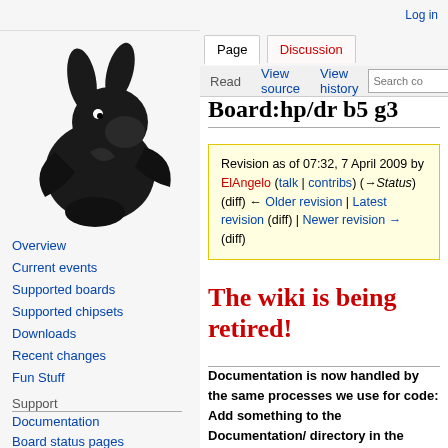Log in
[Figure (logo): Coreboot project logo — stylized black rabbit/hare silhouette on light gray background]
Overview
Current events
Supported boards
Supported chipsets
Downloads
Recent changes
Fun Stuff
Support
Documentation
Board status pages
Issue tracker
Mailinglist
IRC
Board:hp/dr b5 g3
Revision as of 07:32, 7 April 2009 by ElAngelo (talk | contribs) (→Status) (diff) ← Older revision | Latest revision (diff) | Newer revision → (diff)
The wiki is being retired!
Documentation is now handled by the same processes we use for code: Add something to the Documentation/ directory in the coreboot repo, and it will be rendered to